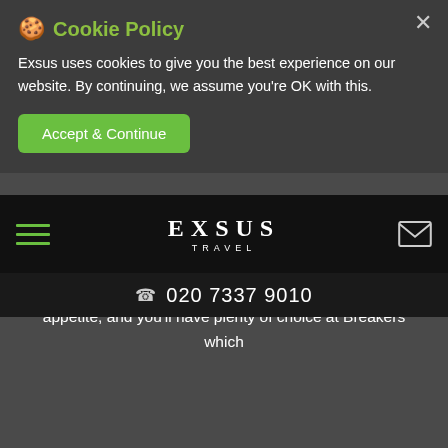🍪 Cookie Policy
Exsus uses cookies to give you the best experience on our website. By continuing, we assume you're OK with this.
Accept & Continue
[Figure (screenshot): Exsus Travel website navigation bar with hamburger menu, EXSUS TRAVEL logo, and envelope icon on black background]
☎ 020 7337 9010
nostalgic artwork that hints at the hotel's history. Whilst staying at the hotel, you'll also have unlimited access to Breakers' fitness, yoga, and aquarobics classes.
FOOD AND FACILITIES
The outdoorsy Floridian lifestyle certainly builds up your appetite, and you'll have plenty of choice at Breakers which